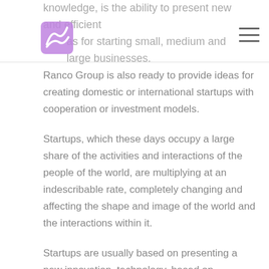knowledge, is the ability to present new and efficient ideas for starting small, medium and large businesses.
[Figure (logo): Ranco Group logo - purple/violet stylized design]
Ranco Group is also ready to provide ideas for creating domestic or international startups with cooperation or investment models.
Startups, which these days occupy a large share of the activities and interactions of the people of the world, are multiplying at an indescribable rate, completely changing and affecting the shape and image of the world and the interactions within it.
Startups are usually based on presenting a new innovation, technology, based on teamwork and with the possibility of high business development.
Start-ups can come in all shapes and sizes. Investors are generally attracted to start-ups that have a higher